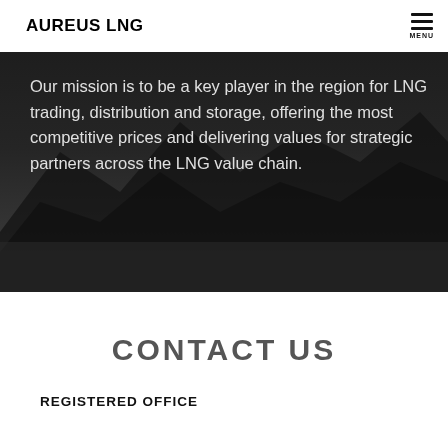AUREUS LNG
Our mission is to be a key player in the region for LNG trading, distribution and storage, offering the most competitive prices and delivering values for strategic partners across the LNG value chain.
CONTACT US
REGISTERED OFFICE